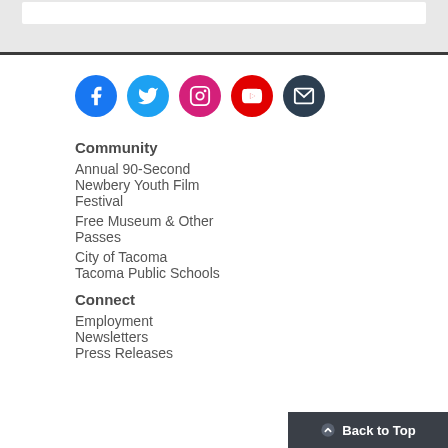[Figure (infographic): Row of five social media icon circles: Facebook (blue), Twitter (light blue), Instagram (pink/magenta), YouTube (red), Email/envelope (dark navy)]
Community
Annual 90-Second Newbery Youth Film Festival
Free Museum & Other Passes
City of Tacoma
Tacoma Public Schools
Connect
Employment
Newsletters
Press Releases
Back to Top